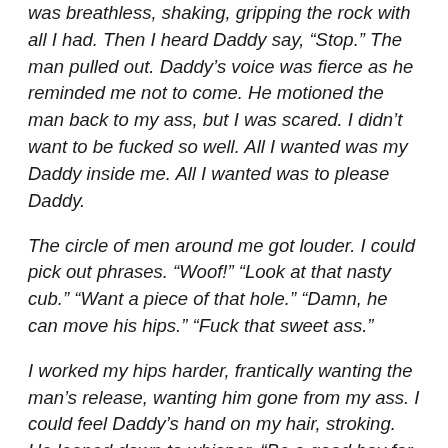was breathless, shaking, gripping the rock with all I had. Then I heard Daddy say, “Stop.” The man pulled out. Daddy’s voice was fierce as he reminded me not to come. He motioned the man back to my ass, but I was scared. I didn’t want to be fucked so well. All I wanted was my Daddy inside me. All I wanted was to please Daddy.
The circle of men around me got louder. I could pick out phrases. “Woof!” “Look at that nasty cub.” “Want a piece of that hole.” “Damn, he can move his hips.” “Fuck that sweet ass.”
I worked my hips harder, frantically wanting the man’s release, wanting him gone from my ass. I could feel Daddy’s hand on my hair, stroking. He leaned down to whisper, “Be a good boy for me. That’s it. Take his